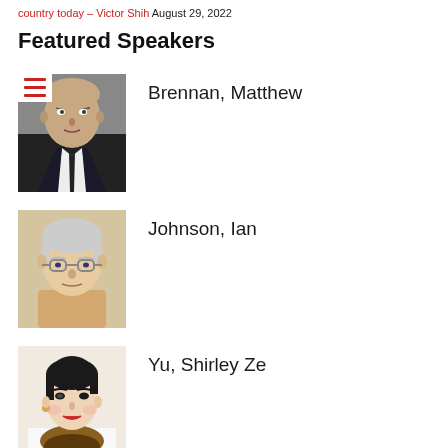country today – Victor Shih August 29, 2022
Featured Speakers
Brennan, Matthew
[Figure (photo): Headshot of Matthew Brennan, a bald man in a dark suit and tie]
Johnson, Ian
[Figure (photo): Headshot of Ian Johnson, an older man with glasses wearing a light-colored top]
Yu, Shirley Ze
[Figure (photo): Headshot of Yu Shirley Ze, a woman with dark hair and a scarf]